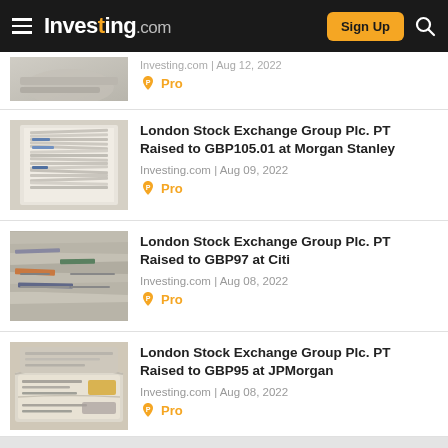Investing.com — Sign Up
Investing.com | Aug 12, 2022
Pro
London Stock Exchange Group Plc. PT Raised to GBP105.01 at Morgan Stanley
Investing.com | Aug 09, 2022
Pro
London Stock Exchange Group Plc. PT Raised to GBP97 at Citi
Investing.com | Aug 08, 2022
Pro
London Stock Exchange Group Plc. PT Raised to GBP95 at JPMorgan
Investing.com | Aug 08, 2022
Pro